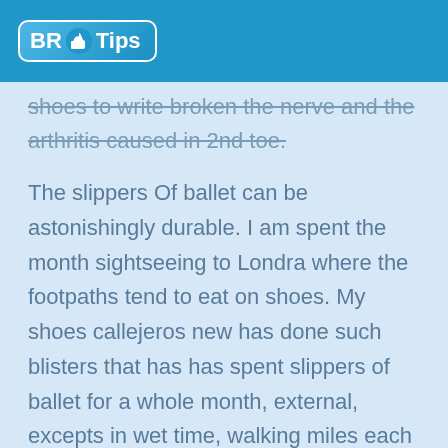BR Tips
shoes to write broken the nerve and the arthritis caused in 2nd toe.
The slippers Of ballet can be astonishingly durable. I am spent the month sightseeing to Londra where the footpaths tend to eat on shoes. My shoes callejeros new has done such blisters that has has spent slippers of ballet for a whole month, external, excepts in wet time, walking miles each day (perhaps Capezios, but shabby any mark). It has not been that this the particular fashion will resist on, but I usually launches out of my shoes of ballet because I am too dirty, any shabby. This look enough like my leading shoes